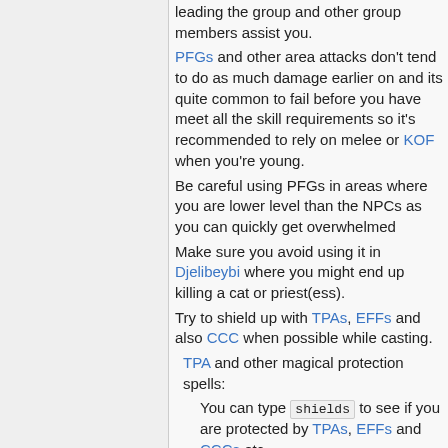leading the group and other group members assist you.
PFGs and other area attacks don't tend to do as much damage earlier on and its quite common to fail before you have meet all the skill requirements so it's recommended to rely on melee or KOF when you're young.
Be careful using PFGs in areas where you are lower level than the NPCs as you can quickly get overwhelmed
Make sure you avoid using it in Djelibeybi where you might end up killing a cat or priest(ess).
Try to shield up with TPAs, EFFs and also CCC when possible while casting.
TPA and other magical protection spells:
You can type shields to see if you are protected by TPAs, EFFs and CCCs etc.
Typing group shields or group status will show similar results for you and your groupmates if you are in a